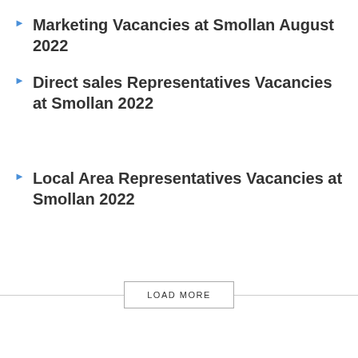Marketing Vacancies at Smollan August 2022
Direct sales Representatives Vacancies at Smollan 2022
Local Area Representatives Vacancies at Smollan 2022
LOAD MORE